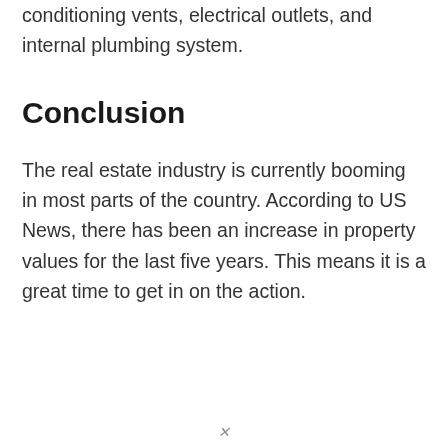conditioning vents, electrical outlets, and internal plumbing system.
Conclusion
The real estate industry is currently booming in most parts of the country. According to US News, there has been an increase in property values for the last five years. This means it is a great time to get in on the action.
[Figure (other): Advertisement banner for Amazon forest protection: 'Just $2 can protect 1 acre of irreplaceable forest homes in the Amazon. How many acres are you willing to protect?' with a green PROTECT FORESTS NOW button and a photo of an animal in a rainforest.]